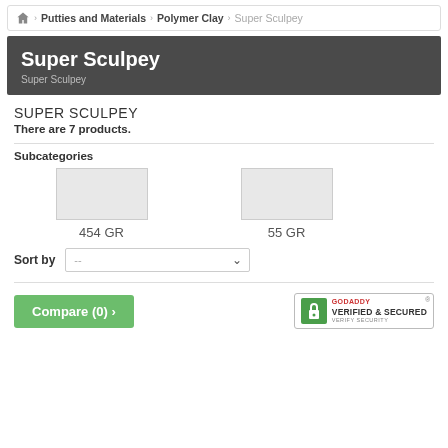Home > Putties and Materials > Polymer Clay > Super Sculpey
Super Sculpey
SUPER SCULPEY
There are 7 products.
Subcategories
454 GR
55 GR
Sort by  --
Compare (0) >